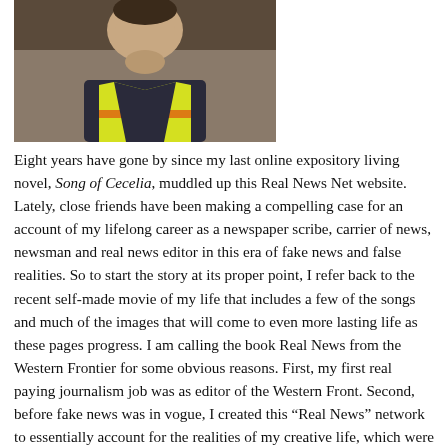[Figure (photo): A person wearing a yellow high-visibility vest and dark jacket, photographed from the chest/shoulders up, outdoors.]
Eight years have gone by since my last online expository living novel, Song of Cecelia, muddled up this Real News Net website. Lately, close friends have been making a compelling case for an account of my lifelong career as a newspaper scribe, carrier of news, newsman and real news editor in this era of fake news and false realities. So to start the story at its proper point, I refer back to the recent self-made movie of my life that includes a few of the songs and much of the images that will come to even more lasting life as these pages progress. I am calling the book Real News from the Western Frontier for some obvious reasons. First, my first real paying journalism job was as editor of the Western Front. Second, before fake news was in vogue, I created this “Real News” network to essentially account for the realities of my creative life, which were not news in the least. If you have stopped in for a glimpse, hope